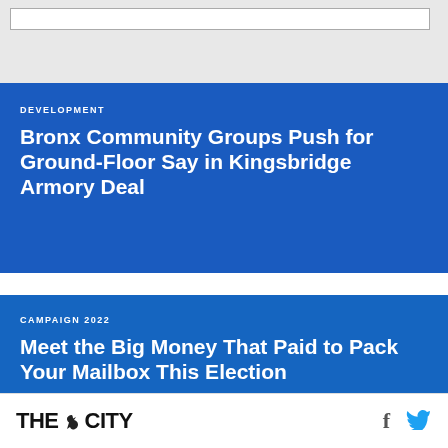DEVELOPMENT
Bronx Community Groups Push for Ground-Floor Say in Kingsbridge Armory Deal
CAMPAIGN 2022
Meet the Big Money That Paid to Pack Your Mailbox This Election
THE CITY